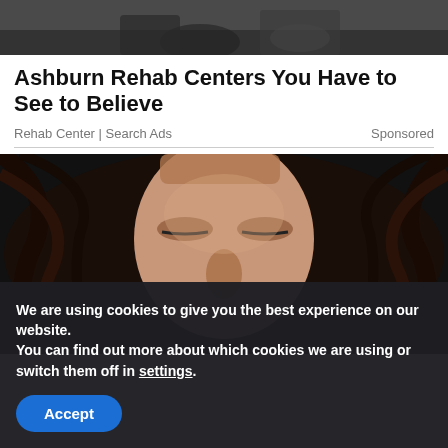[Figure (photo): Top partial image of a person sitting on ground, dark clothing visible]
Ashburn Rehab Centers You Have to See to Believe
Rehab Center | Search Ads    Sponsored
[Figure (photo): Close-up photo of a woman with eyes closed, distressed expression, wet dark hair]
We are using cookies to give you the best experience on our website.
You can find out more about which cookies we are using or switch them off in settings.
Accept